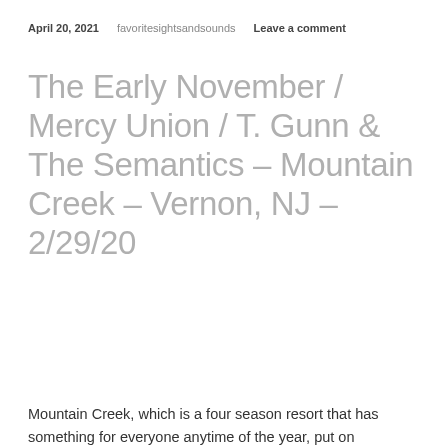April 20, 2021   favoritesightsandsounds   Leave a comment
The Early November / Mercy Union / T. Gunn & The Semantics – Mountain Creek – Vernon, NJ – 2/29/20
Mountain Creek, which is a four season resort that has something for everyone anytime of the year, put on